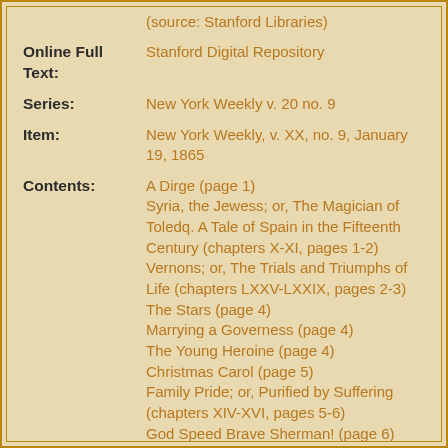(source: Stanford Libraries)
Online Full Text: Stanford Digital Repository
Series: New York Weekly v. 20 no. 9
Item: New York Weekly, v. XX, no. 9, January 19, 1865
Contents: A Dirge (page 1)
Syria, the Jewess; or, The Magician of Toledq. A Tale of Spain in the Fifteenth Century (chapters X-XI, pages 1-2)
Vernons; or, The Trials and Triumphs of Life (chapters LXXV-LXXIX, pages 2-3)
The Stars (page 4)
Marrying a Governess (page 4)
The Young Heroine (page 4)
Christmas Carol (page 5)
Family Pride; or, Purified by Suffering (chapters XIV-XVI, pages 5-6)
God Speed Brave Sherman! (page 6)
The Diary of a Minister's Wife (page 6)